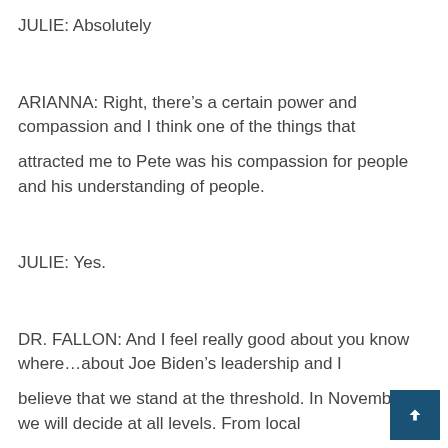JULIE: Absolutely
ARIANNA: Right, there’s a certain power and compassion and I think one of the things that attracted me to Pete was his compassion for people and his understanding of people.
JULIE: Yes.
DR. FALLON: And I feel really good about you know where…about Joe Biden’s leadership and I believe that we stand at the threshold. In November we will decide at all levels. From local